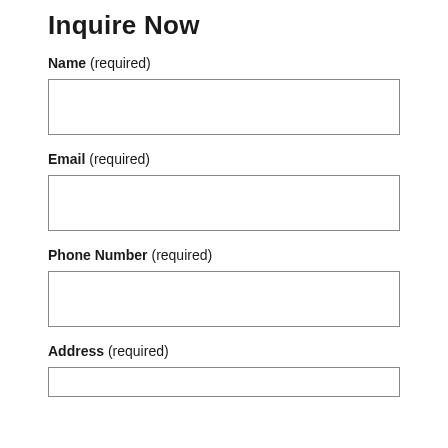Inquire Now
Name (required)
Email (required)
Phone Number (required)
Address (required)